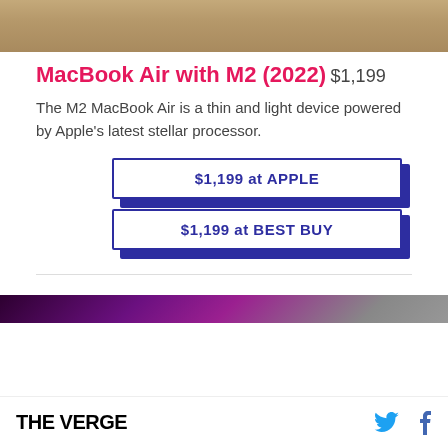[Figure (photo): Top portion of a MacBook Air product photo showing wooden surface texture]
MacBook Air with M2 (2022)
$1,199
The M2 MacBook Air is a thin and light device powered by Apple's latest stellar processor.
$1,199 at APPLE
$1,199 at BEST BUY
[Figure (photo): Bottom portion of a MacBook product photo with purple/pink tones]
THE VERGE